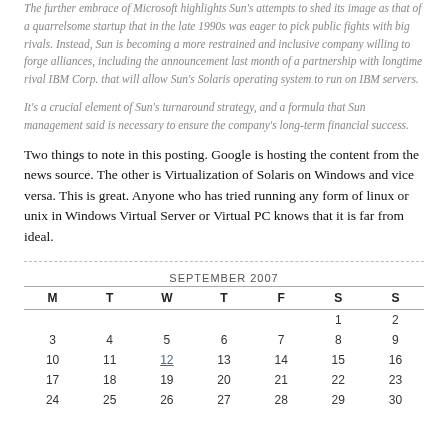The further embrace of Microsoft highlights Sun's attempts to shed its image as that of a quarrelsome startup that in the late 1990s was eager to pick public fights with big rivals. Instead, Sun is becoming a more restrained and inclusive company willing to forge alliances, including the announcement last month of a partnership with longtime rival IBM Corp. that will allow Sun's Solaris operating system to run on IBM servers.
It's a crucial element of Sun's turnaround strategy, and a formula that Sun management said is necessary to ensure the company's long-term financial success.
Two things to note in this posting. Google is hosting the content from the news source. The other is Virtualization of Solaris on Windows and vice versa. This is great. Anyone who has tried running any form of linux or unix in Windows Virtual Server or Virtual PC knows that it is far from ideal.
| M | T | W | T | F | S | S |
| --- | --- | --- | --- | --- | --- | --- |
|  |  |  |  |  | 1 | 2 |
| 3 | 4 | 5 | 6 | 7 | 8 | 9 |
| 10 | 11 | 12 | 13 | 14 | 15 | 16 |
| 17 | 18 | 19 | 20 | 21 | 22 | 23 |
| 24 | 25 | 26 | 27 | 28 | 29 | 30 |